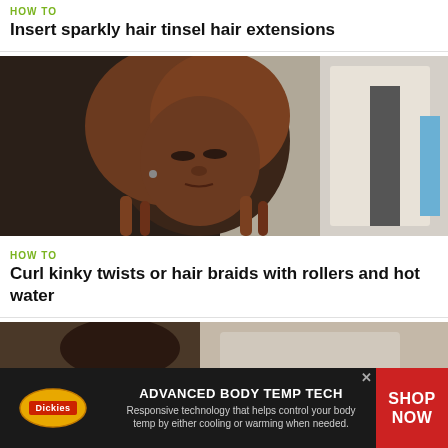HOW TO
Insert sparkly hair tinsel hair extensions
[Figure (photo): Video thumbnail showing a woman with braided hair looking down, in a home setting]
HOW TO
Curl kinky twists or hair braids with rollers and hot water
[Figure (photo): Partial bottom image strip showing a dark image, partially obscured by advertisement banner]
[Figure (infographic): Dickies advertisement banner: 'ADVANCED BODY TEMP TECH - Responsive technology that helps control your body temp by either cooling or warming when needed.' with SHOP NOW call to action]